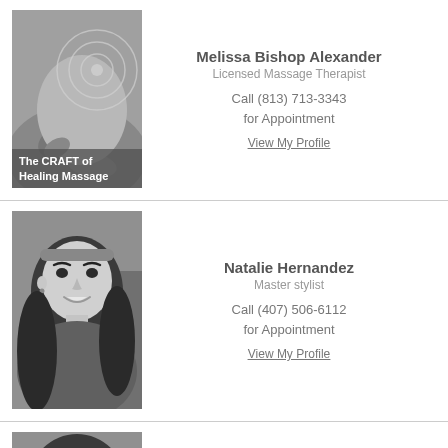[Figure (photo): Black and white photo of a massage therapist working on a client's back, with circular diagram overlay]
The CRAFT of Healing Massage
Melissa Bishop Alexander
Licensed Massage Therapist
Call (813) 713-3343 for Appointment
View My Profile
[Figure (photo): Black and white selfie portrait of Natalie Hernandez smiling]
Natalie Hernandez
Master stylist
Call (407) 506-6112 for Appointment
View My Profile
[Figure (photo): Black and white portrait of Nixie Smith, partially visible]
Nixie Smith